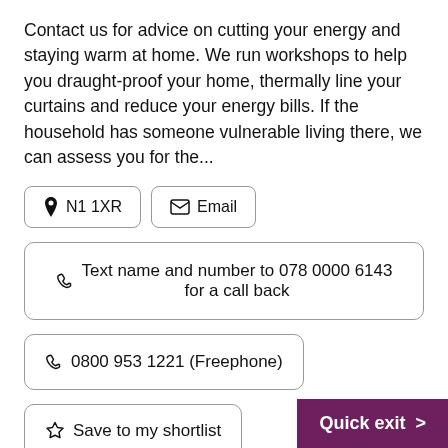Contact us for advice on cutting your energy and staying warm at home. We run workshops to help you draught-proof your home, thermally line your curtains and reduce your energy bills. If the household has someone vulnerable living there, we can assess you for the...
N1 1XR
Email
Text name and number to 078 0000 6143 for a call back
0800 953 1221 (Freephone)
Save to my shortlist
Quick exit >